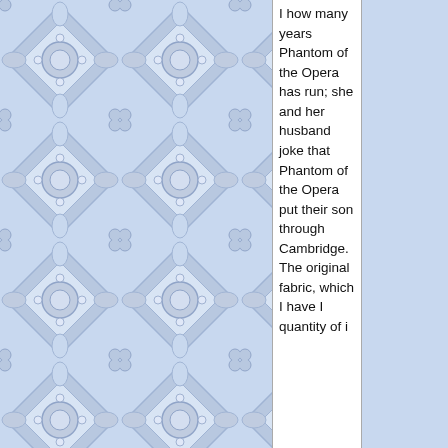[Figure (illustration): Decorative blue and white tile/floral pattern background covering the left portion of the page]
I how many years Phantom of the Opera has run; she and her husband joke that Phantom of the Opera put their son through Cambridge. The original fabric, which I have I quantity of i